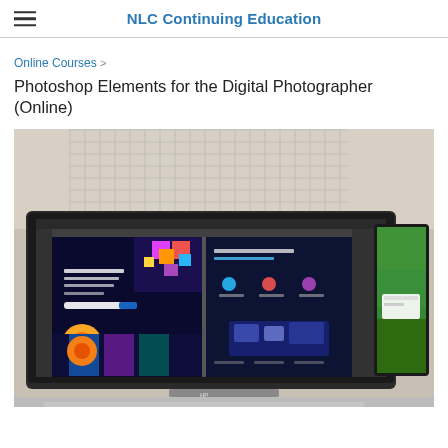NLC Continuing Education
Online Courses >
Photoshop Elements for the Digital Photographer (Online)
[Figure (photo): A large computer monitor showing Adobe Photoshop with a Microsoft Official Courses website open, displayed on a desk with another monitor visible on the right showing a green nature image]